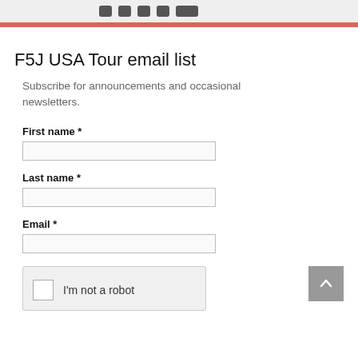[Figure (screenshot): Partial view of social media icons in a gray strip at the top of the page]
F5J USA Tour email list
Subscribe for announcements and occasional newsletters.
First name *
Last name *
Email *
[Figure (screenshot): reCAPTCHA widget with checkbox labeled I'm not a robot]